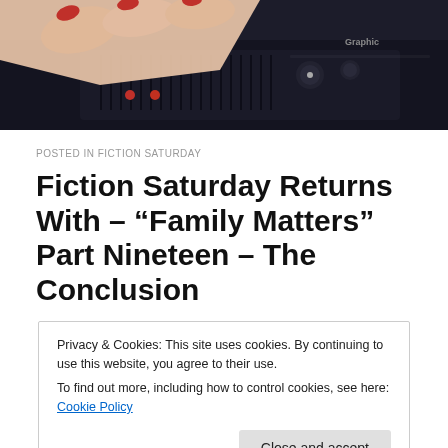[Figure (photo): Close-up photo of a hand with red nail polish pressing buttons on a dark electronic device or audio equipment]
POSTED IN FICTION SATURDAY
Fiction Saturday Returns With – “Family Matters” Part Nineteen – The Conclusion
Privacy & Cookies: This site uses cookies. By continuing to use this website, you agree to their use.
To find out more, including how to control cookies, see here: Cookie Policy
Close and accept
were… Continue reading